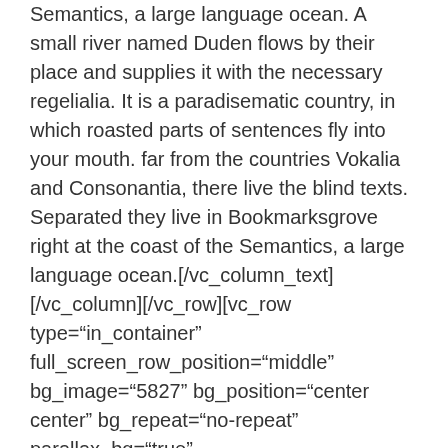Semantics, a large language ocean. A small river named Duden flows by their place and supplies it with the necessary regelialia. It is a paradisematic country, in which roasted parts of sentences fly into your mouth. far from the countries Vokalia and Consonantia, there live the blind texts. Separated they live in Bookmarksgrove right at the coast of the Semantics, a large language ocean.[/vc_column_text][/vc_column][/vc_row][vc_row type="in_container" full_screen_row_position="middle" bg_image="5827" bg_position="center center" bg_repeat="no-repeat" parallax_bg="true" parallax_bg_speed="fast" scene_position="center" text_color="dark" text_align="left" top_padding="5%" bottom_padding="5%" overlay_strength="0.3" shape_divider_position="bottom" shape_type=""][vc_column column_padding="no-extra-padding" column_padding_position="all" background_color_opacity="1" background_hover_color_opacity="1"